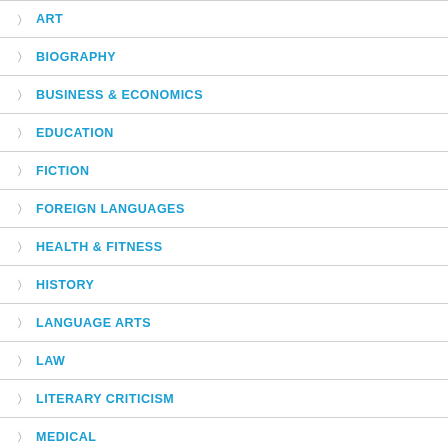ART
BIOGRAPHY
BUSINESS & ECONOMICS
EDUCATION
FICTION
FOREIGN LANGUAGES
HEALTH & FITNESS
HISTORY
LANGUAGE ARTS
LAW
LITERARY CRITICISM
MEDICAL
MUSIC